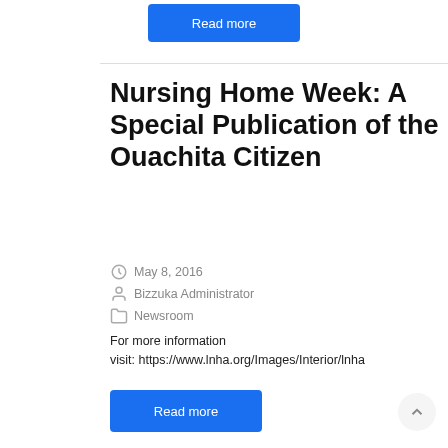Read more
Nursing Home Week: A Special Publication of the Ouachita Citizen
May 8, 2016
Bizzuka Administrator
Newsroom
For more information visit: https://www.lnha.org/Images/Interior/lnha
Read more